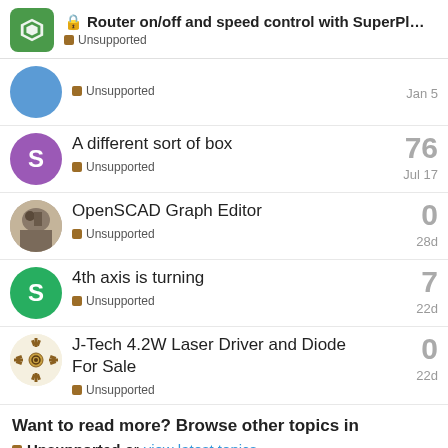Router on/off and speed control with SuperPl... — Unsupported
Unsupported — Jan 5 — (truncated entry)
A different sort of box — Unsupported — Jul 17 — 76 replies
OpenSCAD Graph Editor — Unsupported — 28d — 0 replies
4th axis is turning — Unsupported — 22d — 7 replies
J-Tech 4.2W Laser Driver and Diode For Sale — Unsupported — 22d — 0 replies
Want to read more? Browse other topics in Unsupported or view latest topics.